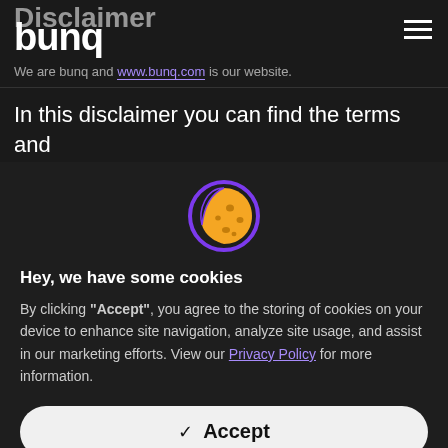Disclaimer
bunq
We are bunq and www.bunq.com is our website.
In this disclaimer you can find the terms and conditions that apply to the use of our website
[Figure (illustration): Cookie emoji icon — a yellow/gold cookie with a purple circular border, partially eaten on the left side]
Hey, we have some cookies
By clicking "Accept", you agree to the storing of cookies on your device to enhance site navigation, analyze site usage, and assist in our marketing efforts. View our Privacy Policy for more information.
✓ Accept
Preferences